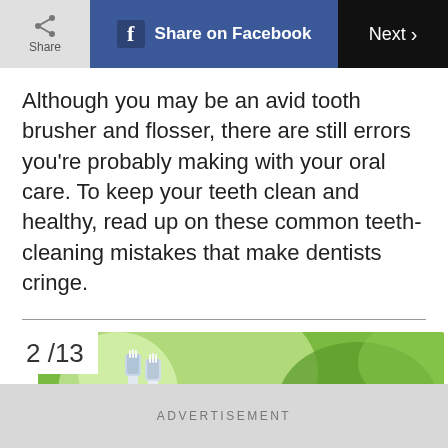Share | Share on Facebook | Next >
Although you may be an avid tooth brusher and flosser, there are still errors you're probably making with your oral care. To keep your teeth clean and healthy, read up on these common teeth-cleaning mistakes that make dentists cringe.
[Figure (photo): Photo of two toothbrushes against a green blurred background with plants]
2 /13
ADVERTISEMENT